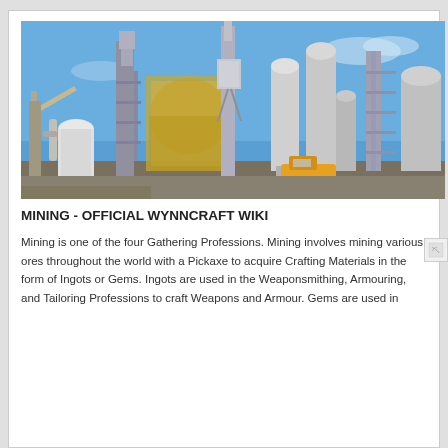[Figure (photo): Industrial mining facility with large metal structures, silos, conveyor systems, scaffolding and a yellow vehicle against a blue sky background.]
MINING - OFFICIAL WYNNCRAFT WIKI
Mining is one of the four Gathering Professions. Mining involves mining various ores throughout the world with a Pickaxe to acquire Crafting Materials in the form of Ingots or Gems. Ingots are used in the Weaponsmithing, Armouring, and Tailoring Professions to craft Weapons and Armour. Gems are used in